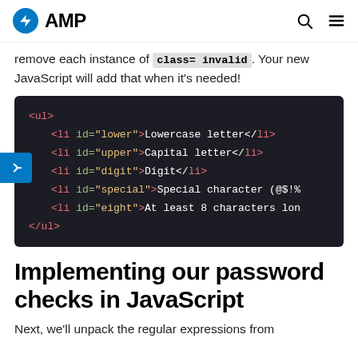AMP
remove each instance of class="invalid". Your new JavaScript will add that when it's needed!
[Figure (screenshot): Code block on dark background showing HTML unordered list with list items: id="lower" Lowercase letter, id="upper" Capital letter, id="digit" Digit, id="special" Special character (@$!%, id="eight" At least 8 characters long, closing </ul>]
Implementing our password checks in JavaScript
Next, we'll unpack the regular expressions from